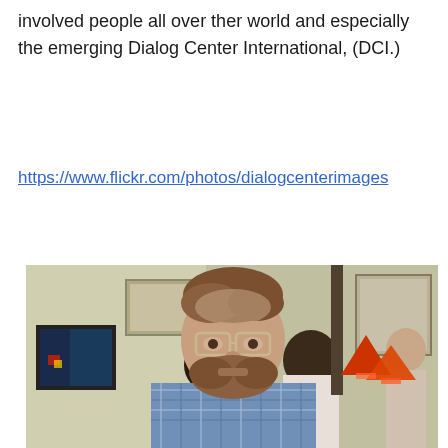involved people all over ther world and especially the emerging Dialog Center International, (DCI.)
https://www.flickr.com/photos/dialogcenterimages
[Figure (photo): A man with a beard and glasses wearing a blue plaid shirt, photographed indoors at what appears to be a social gathering. Other people visible in the background along with a TV screen and red triangular lamp shades.]